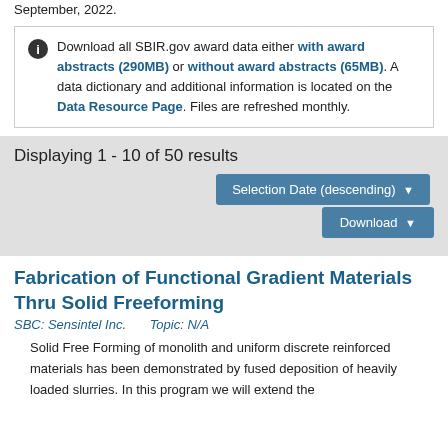September, 2022.
Download all SBIR.gov award data either with award abstracts (290MB) or without award abstracts (65MB). A data dictionary and additional information is located on the Data Resource Page. Files are refreshed monthly.
Displaying 1 - 10 of 50 results
Selection Date (descending) ▼
Download ▼
Fabrication of Functional Gradient Materials Thru Solid Freeforming
SBC: Sensintel Inc.   Topic: N/A
Solid Free Forming of monolith and uniform discrete reinforced materials has been demonstrated by fused deposition of heavily loaded slurries. In this program we will extend the